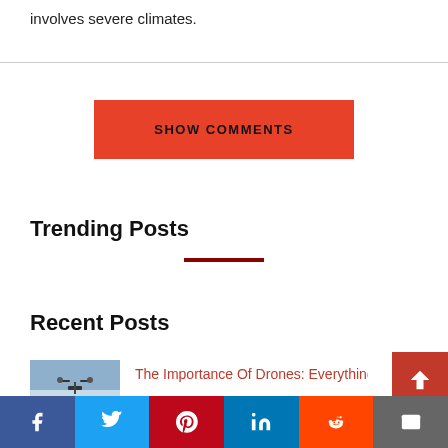involves severe climates.
SHOW COMMENTS
Trending Posts
Recent Posts
The Importance Of Drones: Everything Y...
[Figure (screenshot): Social sharing bar with Facebook, Twitter, Pinterest, LinkedIn, Reddit, Email buttons]
[Figure (photo): Small thumbnail image of a drone in sky]